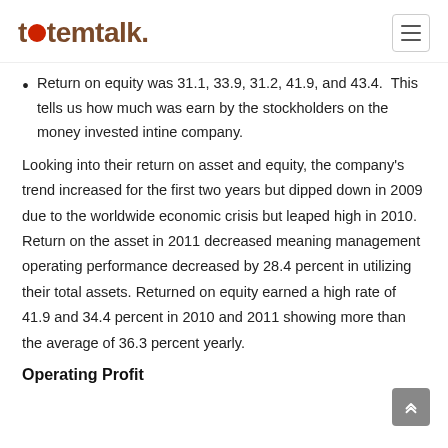tetemtalk.
Return on equity was 31.1, 33.9, 31.2, 41.9, and 43.4. This tells us how much was earn by the stockholders on the money invested intine company.
Looking into their return on asset and equity, the company's trend increased for the first two years but dipped down in 2009 due to the worldwide economic crisis but leaped high in 2010. Return on the asset in 2011 decreased meaning management operating performance decreased by 28.4 percent in utilizing their total assets. Returned on equity earned a high rate of 41.9 and 34.4 percent in 2010 and 2011 showing more than the average of 36.3 percent yearly.
Operating Profit